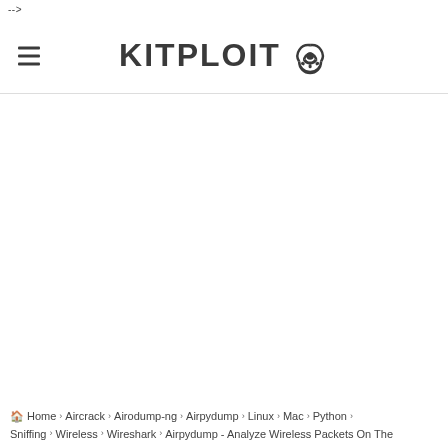-->
KITPLOIT
Home › Aircrack › Airodump-ng › Airpydump › Linux › Mac › Python › Sniffing › Wireless › Wireshark › Airpydump - Analyze Wireless Packets On The